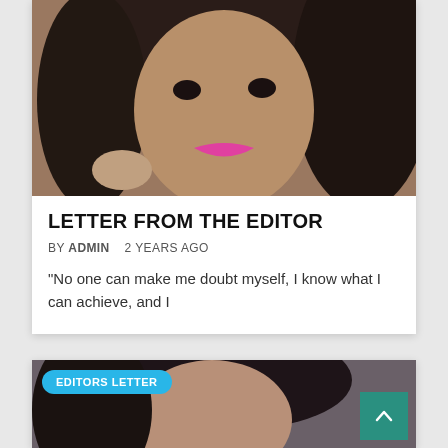[Figure (photo): Close-up photo of a woman with curly dark hair, pink lipstick, and gold hoop earring, smiling at camera]
LETTER FROM THE EDITOR
BY ADMIN   2 YEARS AGO
“No one can make me doubt myself, I know what I can achieve, and I
[Figure (photo): Partial photo of a woman with curly dark hair, partially visible at bottom of page, with EDITORS LETTER badge overlay]